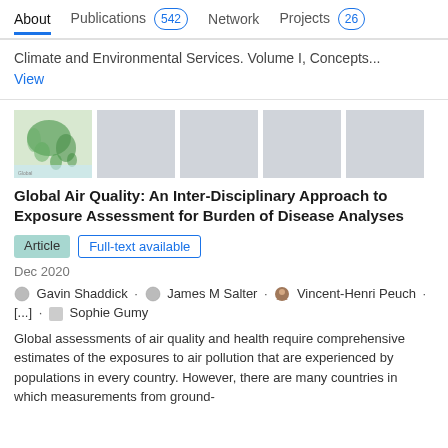About  Publications 542  Network  Projects 26
Climate and Environmental Services. Volume I, Concepts...
View
[Figure (illustration): Thumbnail strip of 5 images; first shows a green map of Southeast Asia, the remaining four are grey placeholders.]
Global Air Quality: An Inter-Disciplinary Approach to Exposure Assessment for Burden of Disease Analyses
Article   Full-text available
Dec 2020
Gavin Shaddick · James M Salter · Vincent-Henri Peuch · [...] · Sophie Gumy
Global assessments of air quality and health require comprehensive estimates of the exposures to air pollution that are experienced by populations in every country. However, there are many countries in which measurements from ground-based monitoring are sparse or absent altogether...